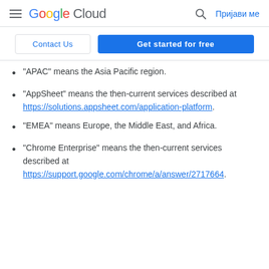Google Cloud — Пријави ме
Contact Us | Get started for free
"APAC" means the Asia Pacific region.
"AppSheet" means the then-current services described at https://solutions.appsheet.com/application-platform.
"EMEA" means Europe, the Middle East, and Africa.
"Chrome Enterprise" means the then-current services described at https://support.google.com/chrome/a/answer/2717664.